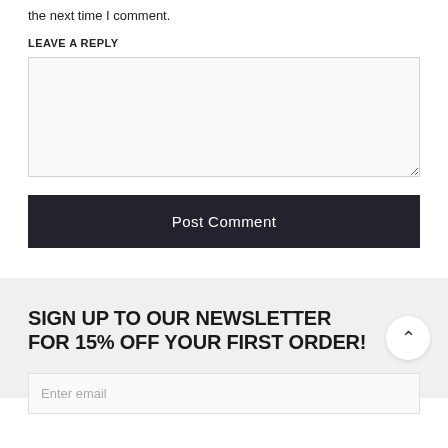the next time I comment.
LEAVE A REPLY
[Figure (other): Comment text area input box]
[Figure (other): Post Comment button, dark background with white text]
SIGN UP TO OUR NEWSLETTER FOR 15% OFF YOUR FIRST ORDER!
[Figure (other): Enter email input field at bottom of page]